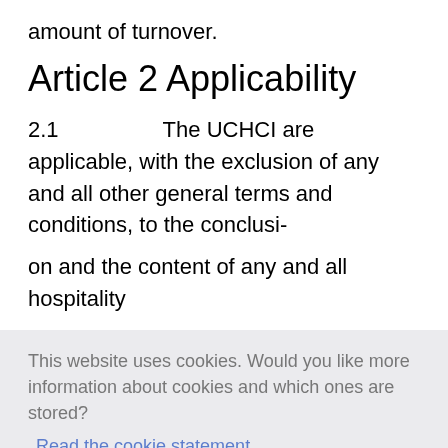amount of turnover.
Article 2 Applicability
2.1          The UCHCI are applicable, with the exclusion of any and all other general terms and conditions, to the conclusi-

on and the content of any and all hospitality
This website uses cookies. Would you like more information about cookies and which ones are stored?
Read the cookie statement
I understand
2.2          It is only possible to deviate from the